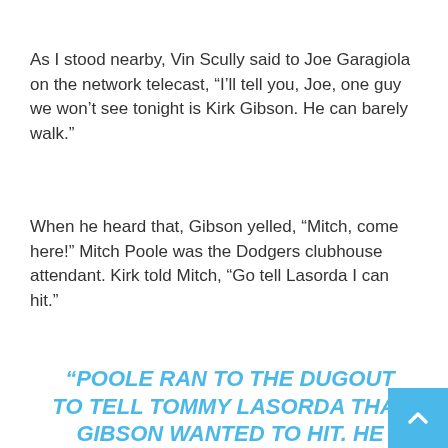As I stood nearby, Vin Scully said to Joe Garagiola on the network telecast, “I’ll tell you, Joe, one guy we won’t see tonight is Kirk Gibson. He can barely walk.”
When he heard that, Gibson yelled, “Mitch, come here!” Mitch Poole was the Dodgers clubhouse attendant. Kirk told Mitch, “Go tell Lasorda I can hit.”
“POOLE RAN TO THE DUGOUT TO TELL TOMMY LASORDA THAT GIBSON WANTED TO HIT. HE CAME BACK TWO MINUTES LATER SAYING, ‘TOMMY WANTS YOU TO GET DRESSED, BUT DON’T BE SEEN. HE DOESN’T WANT TONY LARUSSA (A’S MANAGER) TO KNOW YOU’RE